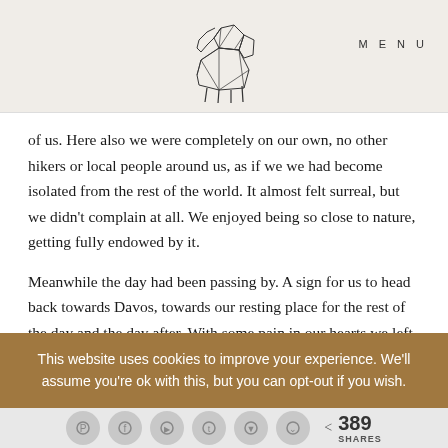MENU
[Figure (logo): Geometric low-poly elephant logo in outline style]
of us. Here also we were completely on our own, no other hikers or local people around us, as if we we had become isolated from the rest of the world. It almost felt surreal, but we didn't complain at all. We enjoyed being so close to nature, getting fully endowed by it.
Meanwhile the day had been passing by. A sign for us to head back towards Davos, towards our resting place for the rest of the day and the day after. With some pain in our hearts we left this enchanting place and continued our journey, this time not via some mountain trails but via some other small villages in the
This website uses cookies to improve your experience. We'll assume you're ok with this, but you can opt-out if you wish.
389 SHARES